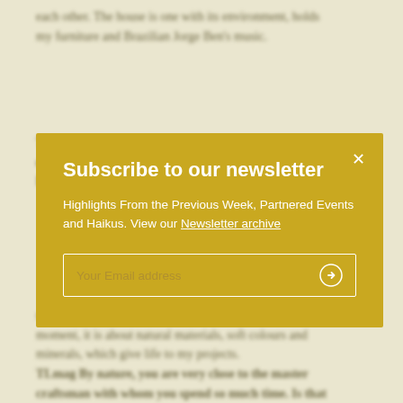each other. The house is one with its environment, holds my furniture and Brazilian Jorge Ben's music.
TLmag What are your preferred materials when designing living objects or that live around you? Do your Italian culture and identity serve as your guides?
[Figure (screenshot): Newsletter subscription modal popup with yellow/gold background. Title: 'Subscribe to our newsletter'. Description text: 'Highlights From the Previous Week, Partnered Events and Haikus. View our Newsletter archive'. Email input field with submit arrow button. Close X button in top right corner.]
sidewalks of Rio or the Empaes plants in Apollo. At every moment, it is about natural materials, soft colours and minerals, which give life to my projects.
TLmag By nature, you are very close to the master craftsman with whom you spend so much time. Is that where you find this joy of creation? Through enhancing